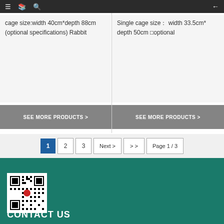≡ 🌐 🔍 ←
cage size:width 40cm*depth 88cm (optional specifications) Rabbit
Single cage size： width 33.5cm* depth 50cm □optional
SEE MORE PRODUCTS >
SEE MORE PRODUCTS >
1  2  3  Next >  > >  Page 1 / 3
[Figure (other): QR code for website/WeChat]
CONTACT US